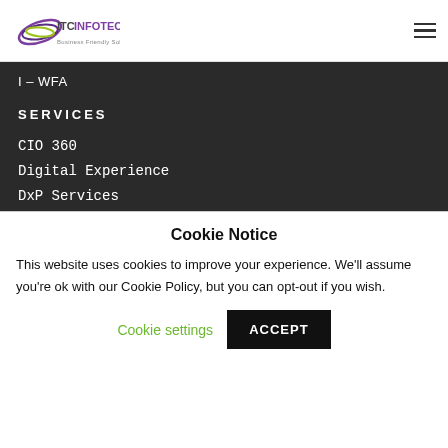[Figure (logo): ITC Infotech logo with purple arc lines and green arc, tagline: Business Friendly Solutions]
I – WFA
SERVICES
CIO 360
Digital Experience
DxP Services
Product 4.0
Cookie Notice
This website uses cookies to improve your experience. We'll assume you're ok with our Cookie Policy, but you can opt-out if you wish.
Cookie settings
ACCEPT